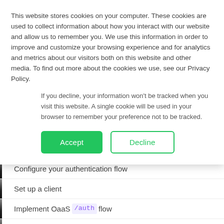This website stores cookies on your computer. These cookies are used to collect information about how you interact with our website and allow us to remember you. We use this information in order to improve and customize your browsing experience and for analytics and metrics about our visitors both on this website and other media. To find out more about the cookies we use, see our Privacy Policy.
If you decline, your information won't be tracked when you visit this website. A single cookie will be used in your browser to remember your preference not to be tracked.
Accept
Decline
Configure your authentication flow
Set up a client
Implement OaaS /auth flow
Grants management API
Get authorized user information
Becoming an OpenID provider enables you to safely